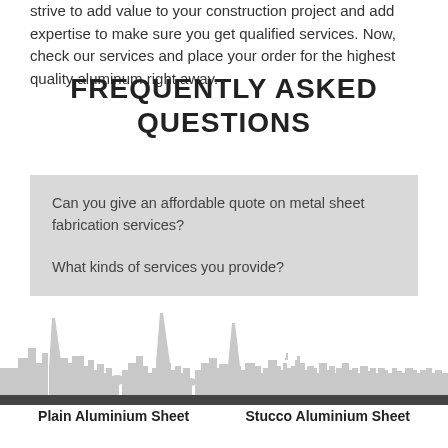strive to add value to your construction project and add expertise to make sure you get qualified services. Now, check our services and place your order for the highest quality aluminum right away.
FREQUENTLY ASKED QUESTIONS
Can you give an affordable quote on metal sheet fabrication services?
What kinds of services you provide?
[Figure (illustration): City skyline silhouette in light grey]
Plain Aluminium Sheet
Stucco Aluminium Sheet